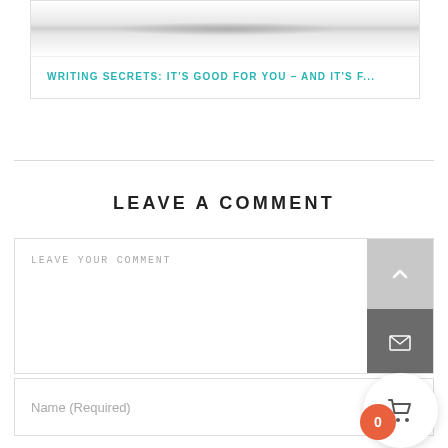[Figure (screenshot): Partial card with blurred image placeholder at top]
WRITING SECRETS: IT'S GOOD FOR YOU – AND IT'S F...
LEAVE A COMMENT
LEAVE YOUR COMMENT
Name (Required)